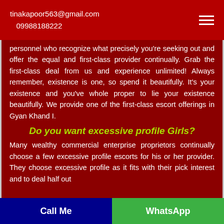tinakapoor563@gmail.com
09988188222
personnel who recognize what precisely you're seeking out and offer the equal and first-class provider continually. Grab the first-class deal from us and experience unlimited! Always remember, existence is one, so spend it beautifully. It's your existence and you've whole proper to lie your existence beautifully. We provide one of the first-class escort offerings in Gyan Khand I.
Do you want excessive profile Girls?
Many wealthy commercial enterprise proprietors continually choose a few excessive profile escorts for his or her provider. They choose excessive profile as it fits with their pick interest and to deal half out
Call Me   WhatsApp